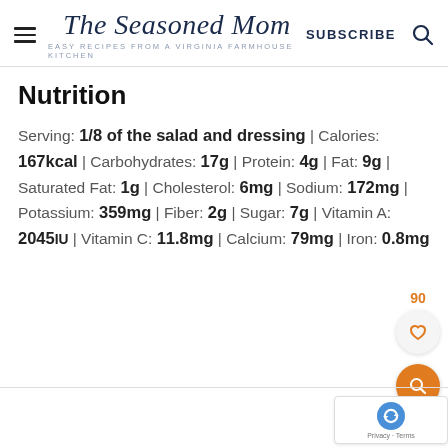The Seasoned Mom — EASY RECIPES FROM A VIRGINIA FARMHOUSE KITCHEN | SUBSCRIBE
Nutrition
Serving: 1/8 of the salad and dressing | Calories: 167kcal | Carbohydrates: 17g | Protein: 4g | Fat: 9g | Saturated Fat: 1g | Cholesterol: 6mg | Sodium: 172mg | Potassium: 359mg | Fiber: 2g | Sugar: 7g | Vitamin A: 2045IU | Vitamin C: 11.8mg | Calcium: 79mg | Iron: 0.8mg